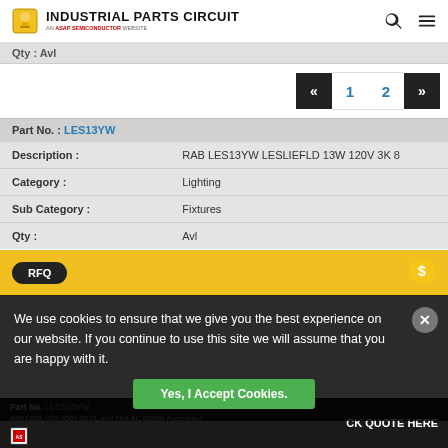INDUSTRIAL PARTS CIRCUIT - An ASAP Semiconductor Website
Qty : Avl
1  2
Part No. : LES13YW
| Field | Value |
| --- | --- |
| Description : | RAB LES13YW LESLIEFLD 13W 120V 3K 8 |
| Category : | Lighting |
| Sub Category : | Fixtures |
| Qty : | Avl |
RFQ
Part No. : LES13YW
AS9120B, ISO 9001:2015, and FAA AC 0056B Accredited
We use cookies to ensure that we give you the best experience on our website. If you continue to use this site we will assume that you are happy with it.
Yes, I Accept Cookies.
CK QUOTE HERE